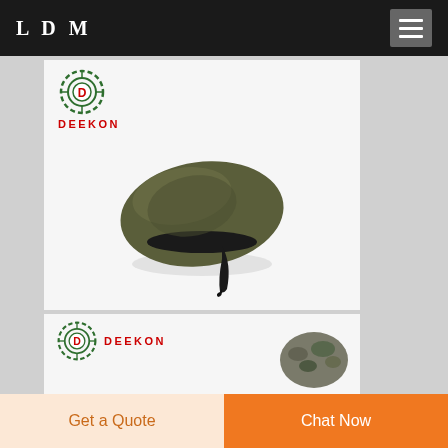LDM
[Figure (photo): Deekon brand logo with circular target icon and red text, above an olive/khaki military beret hat with black band and chin strap on white background]
[Figure (photo): Deekon brand logo with circular target icon and red text, above a partially visible camouflage military beret hat]
Get a Quote
Chat Now